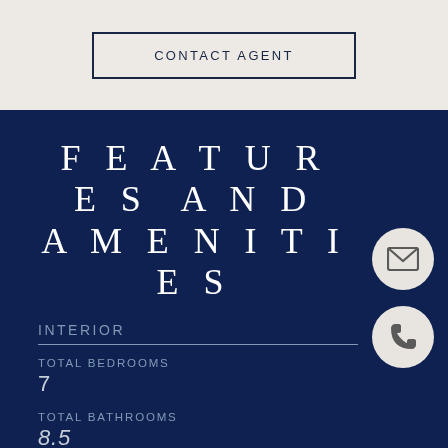CONTACT AGENT
FEATURES AND AMENITIES
INTERIOR
TOTAL BEDROOMS
7
TOTAL BATHROOMS
8.5